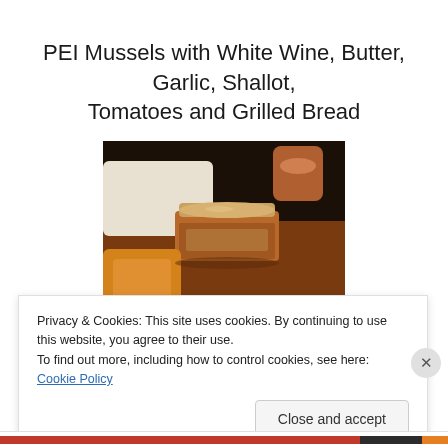PEI Mussels with White Wine, Butter, Garlic, Shallot, Tomatoes and Grilled Bread
[Figure (photo): A glass mason jar filled with a reddish-brown liquid (likely a sauce or broth), placed on a plate with bread/food items, dark background, warm tones.]
Privacy & Cookies: This site uses cookies. By continuing to use this website, you agree to their use.
To find out more, including how to control cookies, see here: Cookie Policy
Close and accept